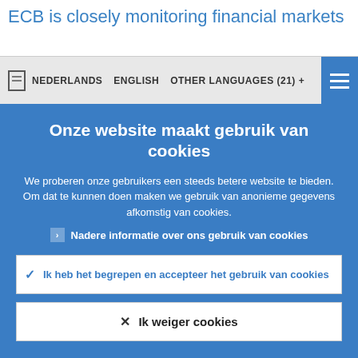ECB is closely monitoring financial markets
NEDERLANDS   ENGLISH   OTHER LANGUAGES (21) +
Onze website maakt gebruik van cookies
We proberen onze gebruikers een steeds betere website te bieden. Om dat te kunnen doen maken we gebruik van anonieme gegevens afkomstig van cookies.
▶ Nadere informatie over ons gebruik van cookies
✓ Ik heb het begrepen en accepteer het gebruik van cookies
✕ Ik weiger cookies